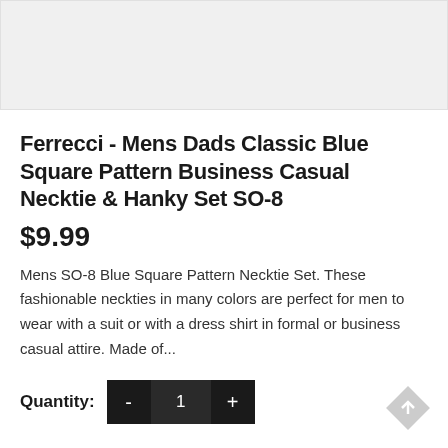[Figure (photo): Product image placeholder area, light gray background]
Ferrecci - Mens Dads Classic Blue Square Pattern Business Casual Necktie & Hanky Set SO-8
$9.99
Mens SO-8 Blue Square Pattern Necktie Set. These fashionable neckties in many colors are perfect for men to wear with a suit or with a dress shirt in formal or business casual attire. Made of...
Quantity: - 1 +